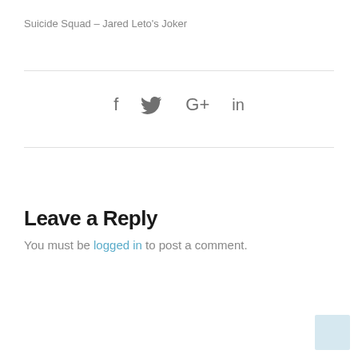Suicide Squad – Jared Leto's Joker
[Figure (infographic): Social sharing icons: Facebook (f), Twitter (bird), Google+ (G+), LinkedIn (in)]
Leave a Reply
You must be logged in to post a comment.